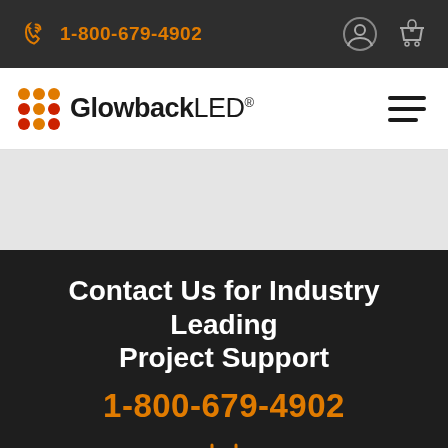1-800-679-4902
[Figure (logo): GlowbackLED logo with colored dot grid and text]
Contact Us for Industry Leading Project Support
1-800-679-4902
[Figure (illustration): Orange calendar/contact icon at bottom]